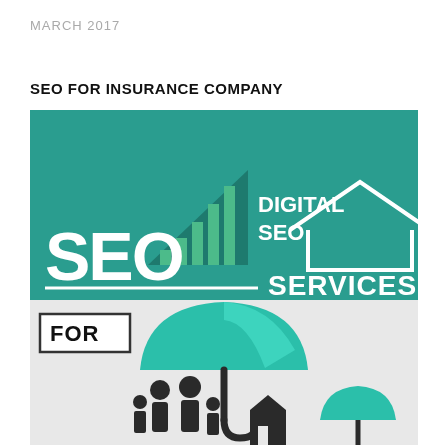MARCH 2017
SEO FOR INSURANCE COMPANY
[Figure (infographic): SEO Services for Insurance Company infographic. Top half: teal/green background with a bar chart logo icon (ascending green bars forming a triangle), text 'DIGITAL SEO' in white, large white bold text 'SEO' on the left, and 'SERVICES' on the right with a white house/roof icon outline above it, separated by a white horizontal line. Bottom half: light gray background with a black bordered box containing 'FOR' text in bold, and a large teal umbrella with a family (silhouette of parents and children) and a house silhouette underneath it.]